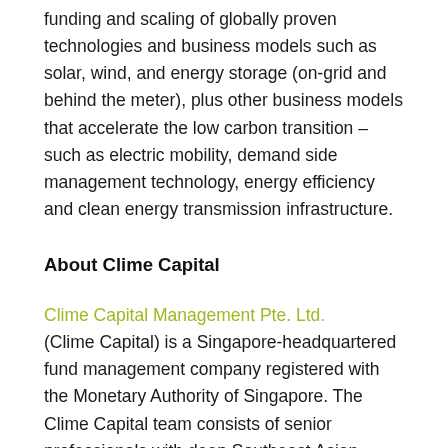funding and scaling of globally proven technologies and business models such as solar, wind, and energy storage (on-grid and behind the meter), plus other business models that accelerate the low carbon transition – such as electric mobility, demand side management technology, energy efficiency and clean energy transmission infrastructure.
About Clime Capital
Clime Capital Management Pte. Ltd. (Clime Capital) is a Singapore-headquartered fund management company registered with the Monetary Authority of Singapore. The Clime Capital team consists of senior professionals with deep Southeast Asian market